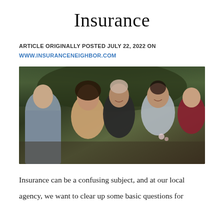Insurance
ARTICLE ORIGINALLY POSTED JULY 22, 2022 ON
WWW.INSURANCENEIGHBOR.COM
[Figure (photo): Group of women of various ages outdoors smiling and embracing, with green foliage in background]
Insurance can be a confusing subject, and at our local agency, we want to clear up some basic questions for